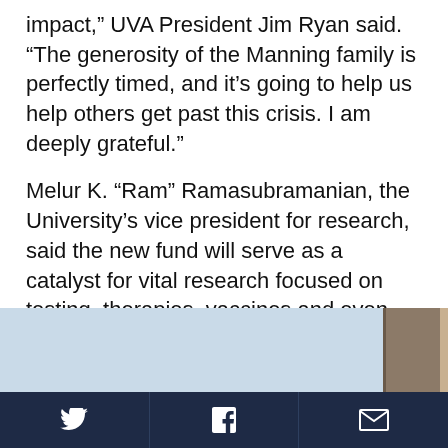impact,” UVA President Jim Ryan said. “The generosity of the Manning family is perfectly timed, and it’s going to help us help others get past this crisis. I am deeply grateful.”
Melur K. “Ram” Ramasubramanian, the University’s vice president for research, said the new fund will serve as a catalyst for vital research focused on testing, therapies, vaccines and even strategies to safely reopen society.
[Figure (photo): Partial photograph showing architectural columns or pillars against a light blue sky, cropped at the bottom of the page.]
Social share icons: Twitter, Facebook, Email